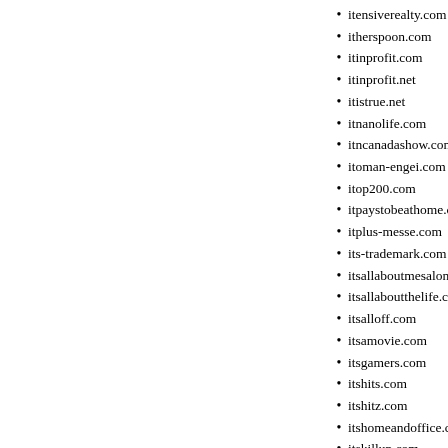itensiverealty.com
itherspoon.com
itinprofit.com
itinprofit.net
itistrue.net
itnanolife.com
itncanadashow.com
itoman-engei.com
itop200.com
itpaystobeathome.com
itplus-messe.com
its-trademark.com
itsallaboutmesalon.com
itsallaboutthelife.com
itsalloff.com
itsamovie.com
itsgamers.com
itshits.com
itshitz.com
itshomeandoffice.com
itskillup.com
itsmfovlig.com
itsmfovlig.net
itsmyempire.com
itsokmerrychristmas.com
itsoksaymerrychristmas.com
itsonxe.com
itsornre.com